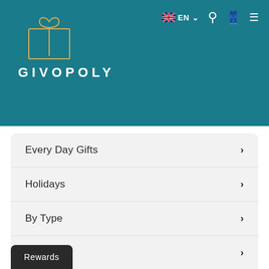[Figure (logo): Givopoly logo with gift box icon and text on teal header background]
Every Day Gifts
Holidays
By Type
By Price
Partners
(613) 702-1132
Rewards